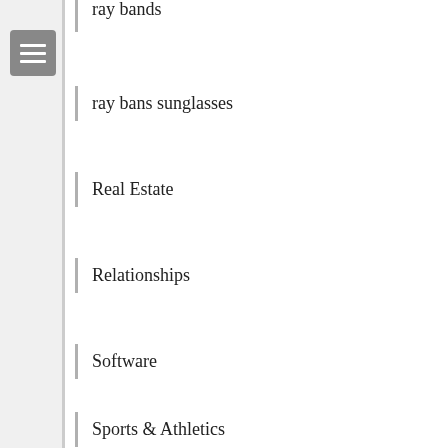ray bands
ray bans sunglasses
Real Estate
Relationships
Software
Sports & Athletics
sunglasses ray ban
Technology
Travel